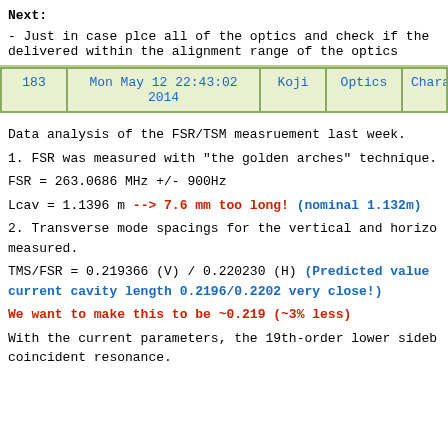Next:

- Just in case plce all of the optics and check if the delivered within the alignment range of the optics
| 183 | Mon May 12 22:43:02 2014 | Koji | Optics | Characteriza |
| --- | --- | --- | --- | --- |
Data analysis of the FSR/TSM measruement last week.

1. FSR was measured with "the golden arches" technique.

FSR = 263.0686 MHz +/- 900Hz

Lcav = 1.1396 m --> 7.6 mm too long! (nominal 1.132m)

2. Transverse mode spacings for the vertical and horizo measured.

TMS/FSR = 0.219366 (V) / 0.220230 (H) (Predicted value current cavity length 0.2196/0.2202 very close!)

We want to make this to be ~0.219 (~3% less)

With the current parameters, the 19th-order lower sideb coincident resonance.